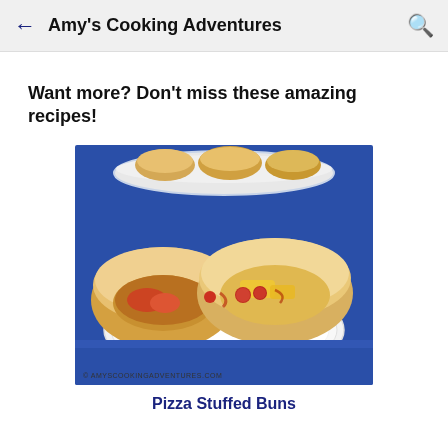Amy's Cooking Adventures
Want more? Don’t miss these amazing recipes!
[Figure (photo): Two pizza stuffed buns pulled apart on a white plate, revealing pepperoni and cheese filling inside. A bowl of whole buns visible in background on a blue tablecloth. Copyright watermark reads © AMYSCOOKINGADVENTURES.COM]
Pizza Stuffed Buns